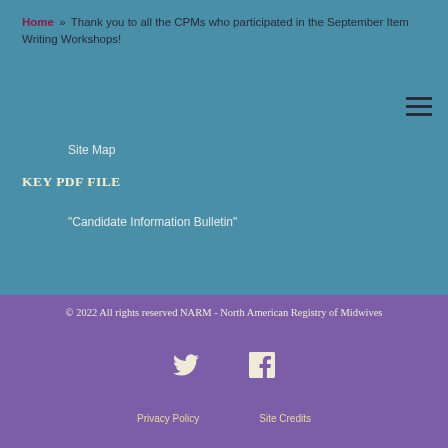Home » Thank you to all the CPMs who participated in the September Item Writing Workshops!
Site Map
KEY PDF FILE
"Candidate Information Bulletin"
© 2022 All rights reserved NARM - North American Registry of Midwives
Privacy Policy   Site Credits